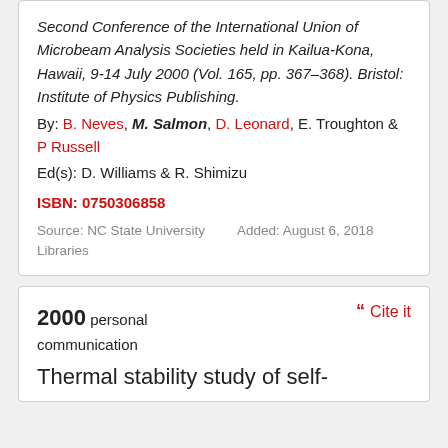Second Conference of the International Union of Microbeam Analysis Societies held in Kailua-Kona, Hawaii, 9-14 July 2000 (Vol. 165, pp. 367–368). Bristol: Institute of Physics Publishing.
By: B. Neves, M. Salmon, D. Leonard, E. Troughton & P Russell
Ed(s): D. Williams & R. Shimizu
ISBN: 0750306858
Source: NC State University Libraries
Added: August 6, 2018
2000 personal communication
Cite it
Thermal stability study of self-